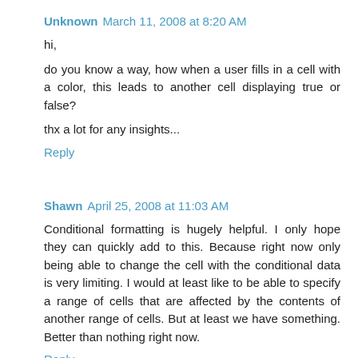Unknown  March 11, 2008 at 8:20 AM
hi,

do you know a way, how when a user fills in a cell with a color, this leads to another cell displaying true or false?

thx a lot for any insights...
Reply
Shawn  April 25, 2008 at 11:03 AM
Conditional formatting is hugely helpful. I only hope they can quickly add to this. Because right now only being able to change the cell with the conditional data is very limiting. I would at least like to be able to specify a range of cells that are affected by the contents of another range of cells. But at least we have something. Better than nothing right now.
Reply